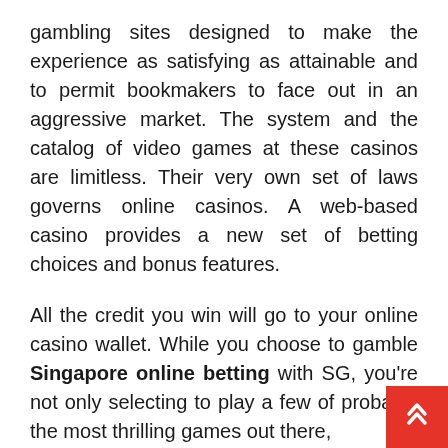gambling sites designed to make the experience as satisfying as attainable and to permit bookmakers to face out in an aggressive market. The system and the catalog of video games at these casinos are limitless. Their very own set of laws governs online casinos. A web-based casino provides a new set of betting choices and bonus features.
All the credit you win will go to your online casino wallet. While you choose to gamble Singapore online betting with SG, you're not only selecting to play a few of probably the most thrilling games out there,
but you're also selecting to offer yourself the prospect of winning large prizes compared another casino. Singapore-based, most online casinos feature an around-the-clock